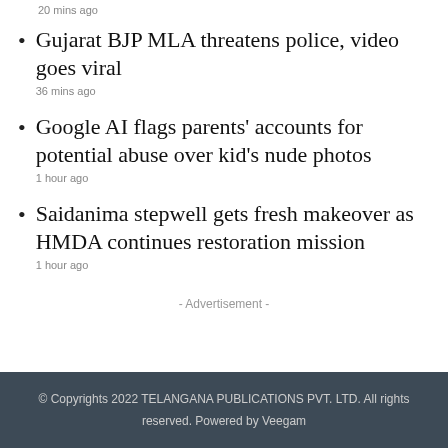20 mins ago
Gujarat BJP MLA threatens police, video goes viral
36 mins ago
Google AI flags parents’ accounts for potential abuse over kid’s nude photos
1 hour ago
Saidanima stepwell gets fresh makeover as HMDA continues restoration mission
1 hour ago
- Advertisement -
© Copyrights 2022 TELANGANA PUBLICATIONS PVT. LTD. All rights reserved. Powered by Veegam